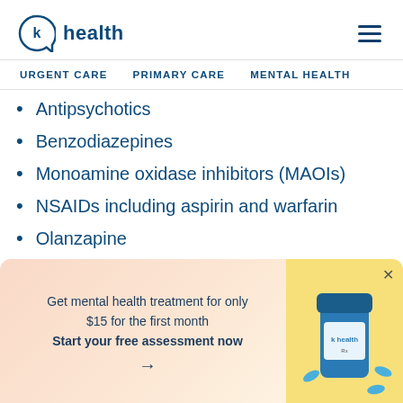k health
Antipsychotics
Benzodiazepines
Monoamine oxidase inhibitors (MAOIs)
NSAIDs including aspirin and warfarin
Olanzapine
Pimozide
St. John's wort
Get mental health treatment for only $15 for the first month
Start your free assessment now →